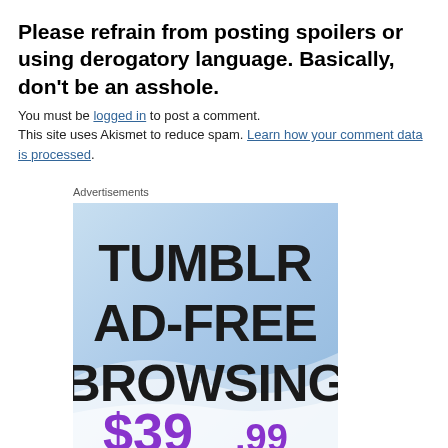Please refrain from posting spoilers or using derogatory language. Basically, don't be an asshole.
You must be logged in to post a comment. This site uses Akismet to reduce spam. Learn how your comment data is processed.
Advertisements
[Figure (illustration): Tumblr ad-free browsing advertisement banner showing text 'TUMBLR AD-FREE BROWSING' on a blue gradient background with '$39.99' in purple text at the bottom.]